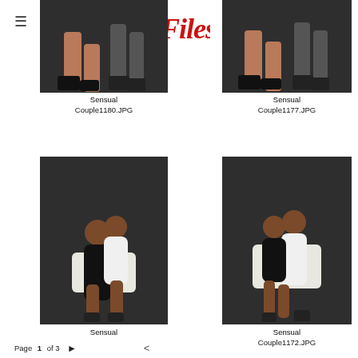[Figure (logo): The Reed Files logo in red serif/grunge font]
[Figure (photo): Sensual couple seated, view of legs and lower body, dark background, studio shot]
Sensual Couple1180.JPG
[Figure (photo): Sensual couple seated, view of legs and lower body, dark background, studio shot]
Sensual Couple1177.JPG
[Figure (photo): Couple embracing/kissing while seated on chair, dark studio background]
Sensual Couple (partially cut off)
[Figure (photo): Couple embracing/kissing, one kneeling, dark studio background]
Sensual Couple1172.JPG
Page 1 of 3  >  <